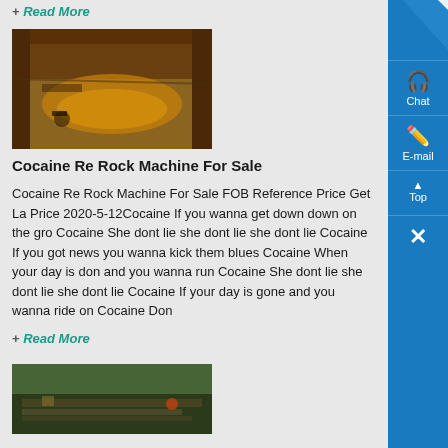+ Read More
[Figure (photo): Aerial or overhead view of a mining or excavation pit with brown water/liquid and earth-moving equipment.]
Cocaine Re Rock Machine For Sale
Cocaine Re Rock Machine For Sale FOB Reference Price Get La... Price 2020-5-12Cocaine If you wanna get down down on the gro... Cocaine She dont lie she dont lie she dont lie Cocaine If you got... news you wanna kick them blues Cocaine When your day is don... and you wanna run Cocaine She dont lie she dont lie she dont lie... Cocaine If your day is gone and you wanna ride on Cocaine Don...
+ Read More
[Figure (photo): Aerial view of a cleared forest or logging site with timber on the ground.]